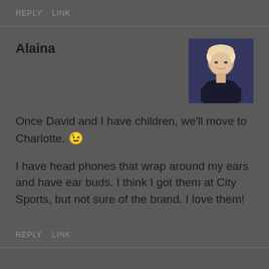REPLY   LINK
Alaina
[Figure (photo): Profile photo of Alaina, a woman with light hair against a dark background]
Once David and I have children, we'll move to Charlotte. 😉
I have head phones that wrap around my ears and have ear buds. I think I got them at City Sports, but not sure of the brand. I love them!
REPLY   LINK